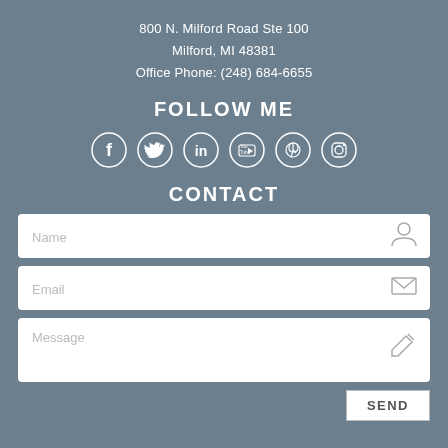800 N. Milford Road Ste 100
Milford, MI 48381
Office Phone: (248) 684-6655
FOLLOW ME
[Figure (illustration): Six social media icons in circles: Facebook, Twitter, LinkedIn, YouTube, Pinterest, Instagram]
CONTACT
[Figure (infographic): Contact form with Name field (person icon), Email field (envelope icon), Message field (pencil icon), and SEND button]